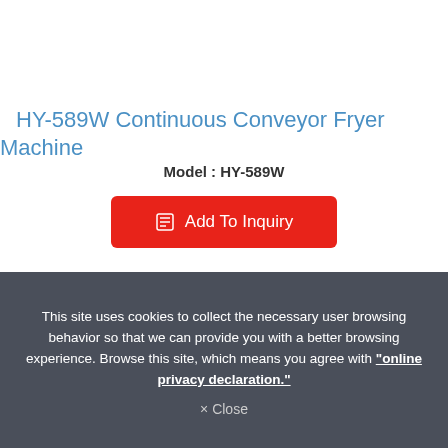HY-589W Continuous Conveyor Fryer Machine
Model : HY-589W
Add To Inquiry
This site uses cookies to collect the necessary user browsing behavior so that we can provide you with a better browsing experience. Browse this site, which means you agree with "online privacy declaration."
× Close